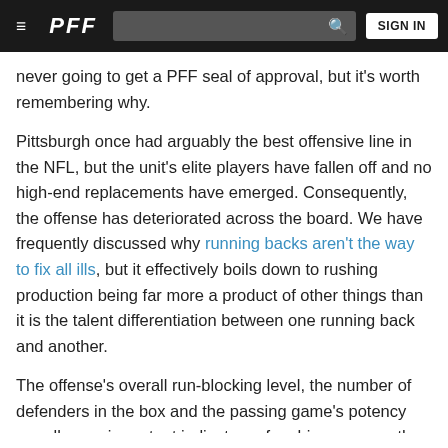PFF | SIGN IN
never going to get a PFF seal of approval, but it's worth remembering why.
Pittsburgh once had arguably the best offensive line in the NFL, but the unit's elite players have fallen off and no high-end replacements have emerged. Consequently, the offense has deteriorated across the board. We have frequently discussed why running backs aren't the way to fix all ills, but it effectively boils down to rushing production being far more a product of other things than it is the talent differentiation between one running back and another.
The offense's overall run-blocking level, the number of defenders in the box and the passing game's potency are all more important indicators of rushing success than the name of who receives the handoff.